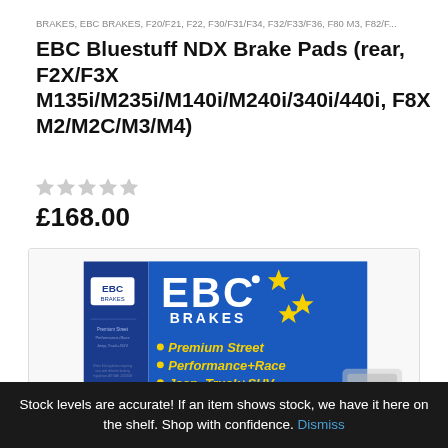BRAKES, EBC BRAKES, F20/F21, F22, F30/F31/F34, F32/F33/F36, F80 M3, F82/F...
EBC Bluestuff NDX Brake Pads (rear, F2X/F3X M135i/M235i/M140i/M240i/340i/440i, F8X M2/M2C/M3/M4)
£168.00
[Figure (photo): EBC Brakes product box – blue packaging with yellow stars and 'EBC BRAKES' logo, bullet points: Premium Street, Performance+Race, Jeep, Truck+SUV]
Stock levels are accurate! If an item shows stock, we have it here on the shelf. Shop with confidence. Dismiss